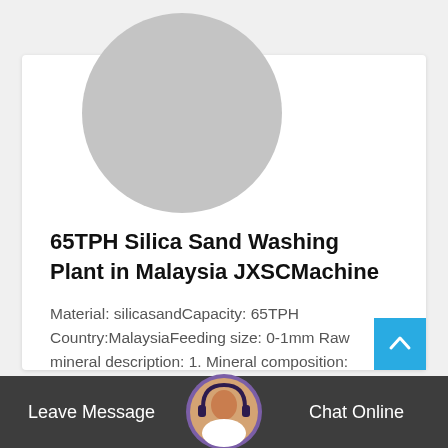[Figure (photo): Gray placeholder circle image for a product/article card]
65TPH Silica Sand Washing Plant in Malaysia JXSCMachine
Material: silicasandCapacity: 65TPH Country:MalaysiaFeeding size: 0-1mm Raw mineral description: 1. Mineral composition: silicon, SiO2...
Read More →
[Figure (photo): Customer service representative avatar with headset, purple border]
Leave Message
Chat Online